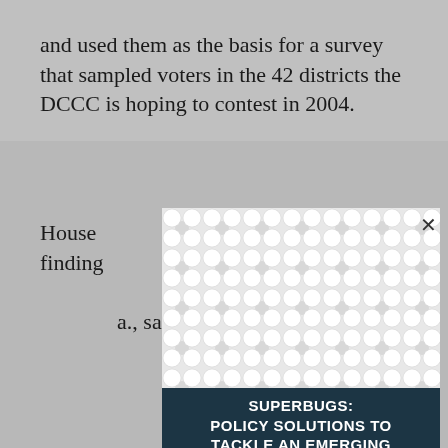and used them as the basis for a survey that sampled voters in the 42 districts the DCCC is hoping to contest in 2004.
House [obscured by modal] poll's finding[s] [obscured] to provid[e] [obscured] cuss their is[sues] [obscured] a., said D[C] [obscured] Berna[rd] [obscured]
[Figure (other): Modal/popup overlay with a decorative pattern (interlocking chain-link circles in white/light gray) covering part of the page text, with an X close button in the upper right corner. Below the pattern is a dark teal advertisement banner.]
SUPERBUGS: POLICY SOLUTIONS TO TACKLE AN EMERGING